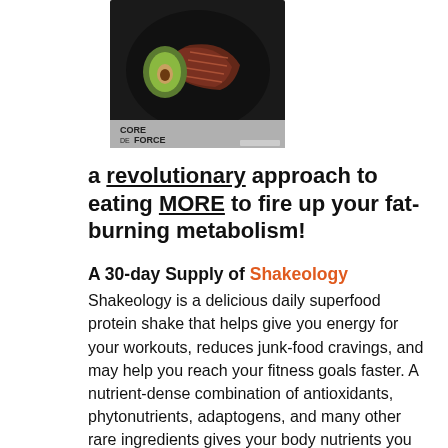[Figure (photo): Book cover for Core de Force meal plan showing avocado and steak on a dark plate, with 'CORE DE FORCE' text at bottom left]
a revolutionary approach to eating MORE to fire up your fat-burning metabolism!
A 30-day Supply of Shakeology
Shakeology is a delicious daily superfood protein shake that helps give you energy for your workouts, reduces junk-food cravings, and may help you reach your fitness goals faster. A nutrient-dense combination of antioxidants, phytonutrients, adaptogens, and many other rare ingredients gives your body nutrients you can't get from a normal